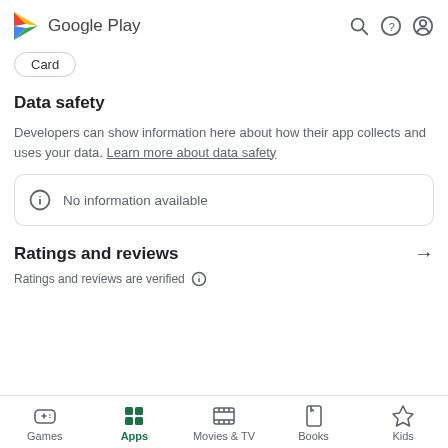Google Play
Card
Data safety
Developers can show information here about how their app collects and uses your data. Learn more about data safety
No information available
Ratings and reviews
Ratings and reviews are verified
Games  Apps  Movies & TV  Books  Kids